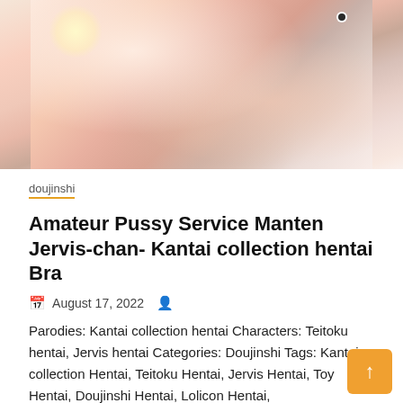[Figure (illustration): Anime/manga style illustration showing a character in a reclining pose, with light pink and peach tones, white clothing elements, soft shading typical of doujinshi cover art.]
doujinshi
Amateur Pussy Service Manten Jervis-chan- Kantai collection hentai Bra
August 17, 2022
Parodies: Kantai collection hentai Characters: Teitoku hentai, Jervis hentai Categories: Doujinshi Tags: Kantai collection Hentai, Teitoku Hentai, Jervis Hentai, Toy Hentai, Doujinshi Hentai, Lolicon Hentai,